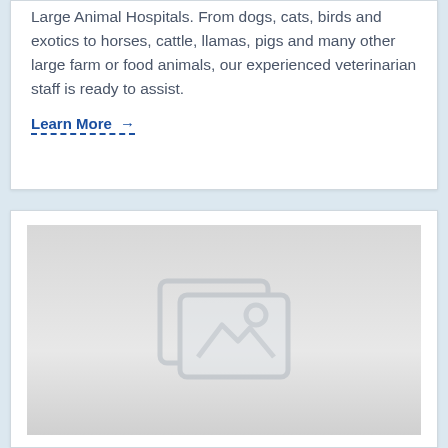Large Animal Hospitals. From dogs, cats, birds and exotics to horses, cattle, llamas, pigs and many other large farm or food animals, our experienced veterinarian staff is ready to assist.
Learn More →
[Figure (photo): Placeholder image with a broken image icon (two overlapping image frames with a mountain/sun symbol inside)]
SYNDICATED PODCAST